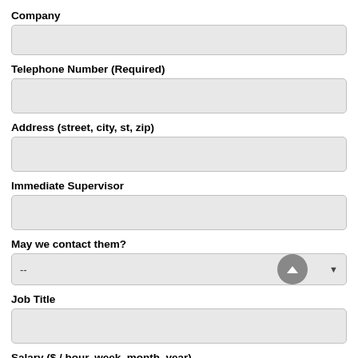Company
Telephone Number (Required)
Address (street, city, st, zip)
Immediate Supervisor
May we contact them?
Job Title
Salary ($ / hour, week, month, year)